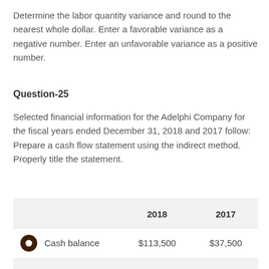Determine the labor quantity variance and round to the nearest whole dollar. Enter a favorable variance as a negative number. Enter an unfavorable variance as a positive number.
Question-25
Selected financial information for the Adelphi Company for the fiscal years ended December 31, 2018 and 2017 follow: Prepare a cash flow statement using the indirect method. Properly title the statement.
|  | 2018 | 2017 |
| --- | --- | --- |
| Cash balance | $113,500 | $37,500 |